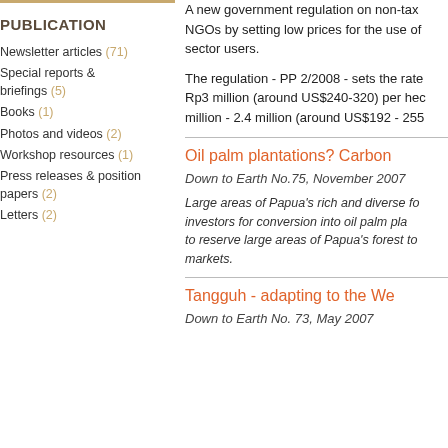PUBLICATION
Newsletter articles (71)
Special reports & briefings (5)
Books (1)
Photos and videos (2)
Workshop resources (1)
Press releases & position papers (2)
Letters (2)
A new government regulation on non-tax NGOs by setting low prices for the use of sector users.
The regulation - PP 2/2008 - sets the rate Rp3 million (around US$240-320) per hec million - 2.4 million (around US$192 - 255
Oil palm plantations? Carbon
Down to Earth No.75, November 2007
Large areas of Papua's rich and diverse fo investors for conversion into oil palm pla to reserve large areas of Papua's forest to markets.
Tangguh - adapting to the We
Down to Earth No. 73, May 2007